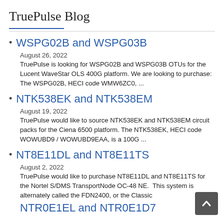TruePulse Blog
WSPG02B and WSPG03B
August 26, 2022
TruePulse is looking for WSPG02B and WSPG03B OTUs for the Lucent WaveStar OLS 400G platform. We are looking to purchase: The WSPG02B, HECI code WMW6ZC0, ...
NTK538EK and NTK538EM
August 19, 2022
TruePulse would like to source NTK538EK and NTK538EM circuit packs for the Ciena 6500 platform. The NTK538EK, HECI code WOWUBD9 / WOWUBD9EAA, is a 100G ...
NT8E11DL and NT8E11TS
August 2, 2022
TruePulse would like to purchase NT8E11DL and NT8E11TS for the Nortel S/DMS TransportNode OC-48 NE.  This system is alternately called the FDN2400, or the Classic
NTR0E1EL and NTR0E1D7